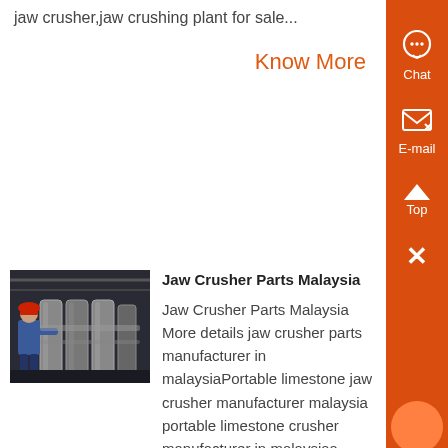jaw crusher,jaw crushing plant for sale...
Know More
Jaw Crusher Parts Malaysia
[Figure (photo): Worker in blue uniform and red hard hat inspecting industrial cylinders or pipes in a factory setting]
Jaw Crusher Parts Malaysia More details jaw crusher parts manufacturer in malaysiaPortable limestone jaw crusher manufacturer malaysia portable limestone crusher manufacturer in malaysiaa crusher is a machine designed to reduce large rocks into smaller rocks gravel or rock dust into the contact us product